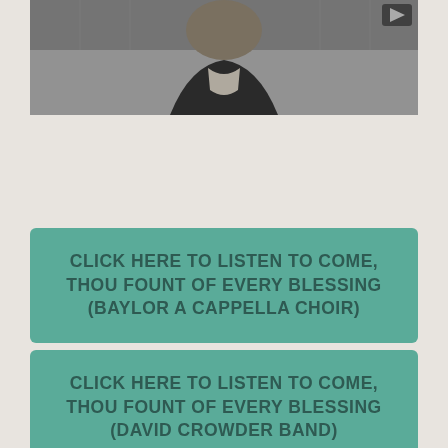[Figure (photo): A person wearing a dark shirt photographed indoors, partial view showing head and upper torso against a light background]
CLICK HERE TO LISTEN TO COME, THOU FOUNT OF EVERY BLESSING (BAYLOR A CAPPELLA CHOIR)
CLICK HERE TO LISTEN TO COME, THOU FOUNT OF EVERY BLESSING (DAVID CROWDER BAND)